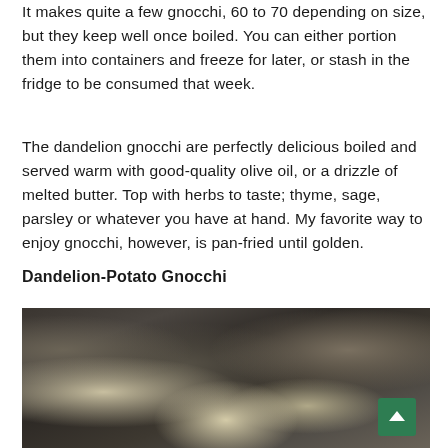It makes quite a few gnocchi, 60 to 70 depending on size, but they keep well once boiled. You can either portion them into containers and freeze for later, or stash in the fridge to be consumed that week.
The dandelion gnocchi are perfectly delicious boiled and served warm with good-quality olive oil, or a drizzle of melted butter. Top with herbs to taste; thyme, sage, parsley or whatever you have at hand. My favorite way to enjoy gnocchi, however, is pan-fried until golden.
Dandelion-Potato Gnocchi
[Figure (photo): A photo of dandelion-potato gnocchi, showing pale dumplings in a dark pan or bowl with what appears to be herbs. A green scroll-to-top button is visible in the bottom-right corner of the image.]